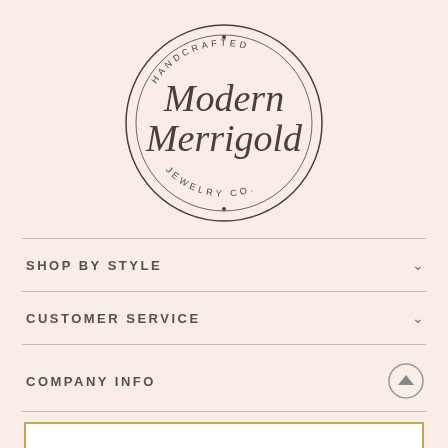[Figure (logo): Modern Merrigold Handcrafted Jewelry Co. circular logo with script lettering]
SHOP BY STYLE
CUSTOMER SERVICE
COMPANY INFO